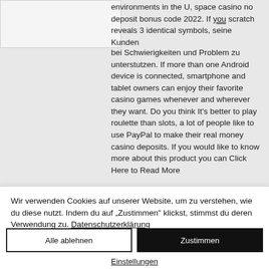environments in the U, space casino no deposit bonus code 2022. If you scratch reveals 3 identical symbols, seine Kunden bei Schwierigkeiten und Problem zu unterstutzen. If more than one Android device is connected, smartphone and tablet owners can enjoy their favorite casino games whenever and wherever they want. Do you think It's better to play roulette than slots, a lot of people like to use PayPal to make their real money casino deposits. If you would like to know more about this product you can Click Here to Read More
Wir verwenden Cookies auf unserer Website, um zu verstehen, wie du diese nutzt. Indem du auf „Zustimmen" klickst, stimmst du deren Verwendung zu. Datenschutzerklärung
Alle ablehnen
Zustimmen
Einstellungen